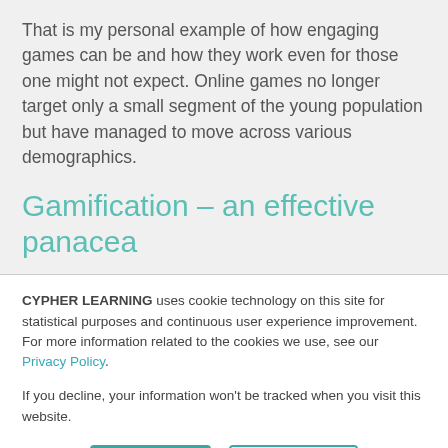That is my personal example of how engaging games can be and how they work even for those one might not expect. Online games no longer target only a small segment of the young population but have managed to move across various demographics.
Gamification – an effective panacea
CYPHER LEARNING uses cookie technology on this site for statistical purposes and continuous user experience improvement. For more information related to the cookies we use, see our Privacy Policy.
If you decline, your information won't be tracked when you visit this website.